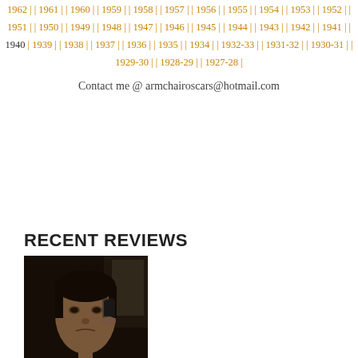1962 | | 1961 | | 1960 | | 1959 | | 1958 | | 1957 | | 1956 | | 1955 | | 1954 | | 1953 | | 1952 | | 1951 | | 1950 | | 1949 | | 1948 | | 1947 | | 1946 | | 1945 | | 1944 | | 1943 | | 1942 | | 1941 | | 1940 | 1939 | | 1938 | | 1937 | | 1936 | | 1935 | | 1934 | | 1932-33 | | 1931-32 | | 1930-31 | | 1929-30 | | 1928-29 | | 1927-28 |
Contact me @ armchairoscars@hotmail.com
RECENT REVIEWS
[Figure (photo): A person on the phone, dimly lit, close-up portrait]
MIRACLE (2022)